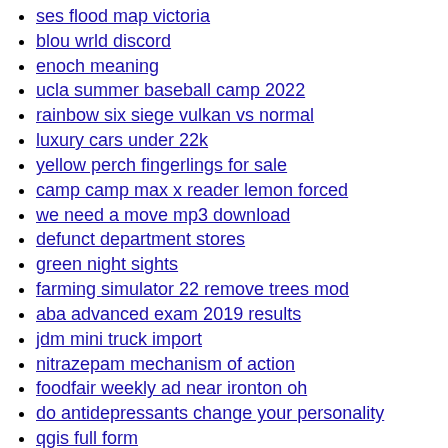ses flood map victoria
blou wrld discord
enoch meaning
ucla summer baseball camp 2022
rainbow six siege vulkan vs normal
luxury cars under 22k
yellow perch fingerlings for sale
camp camp max x reader lemon forced
we need a move mp3 download
defunct department stores
green night sights
farming simulator 22 remove trees mod
aba advanced exam 2019 results
jdm mini truck import
nitrazepam mechanism of action
foodfair weekly ad near ironton oh
do antidepressants change your personality
qgis full form
g35 ls swap list
burial at sea ashes
is viasat good internet
sandy hook fishing permit
acro seoul forest
two family house for sale queens
japanese shiny mew